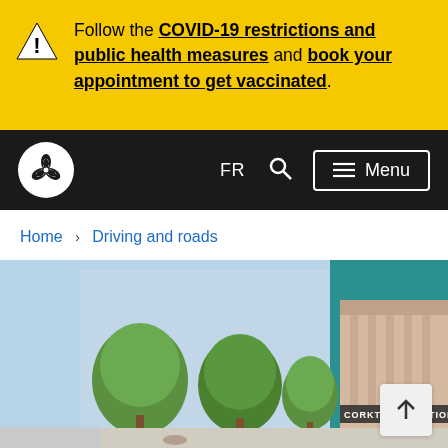Follow the COVID-19 restrictions and public health measures and book your appointment to get vaccinated.
[Figure (screenshot): Ontario government website navigation bar with Ontario trillium logo, FR language toggle, search icon, and Menu button]
Home > Driving and roads
[Figure (photo): Rendering of Corktown Station with trees lining a pedestrian walkway in front of a modern transit station building]